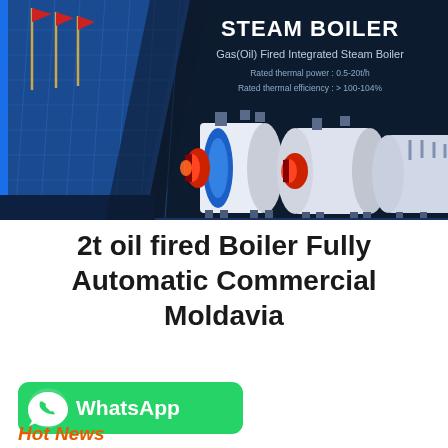[Figure (photo): Steam boiler product banner on dark navy background showing industrial building with flagpoles on left, STEAM BOILER heading and specs on right, three industrial gas/oil fired steam boiler units with red burners and white cylindrical tanks displayed in center-right]
2t oil fired Boiler Fully Automatic Commercial Moldavia
[Figure (logo): WhatsApp green rounded rectangle button with white phone handset icon and white bold text 'WhatsApp']
Hot News